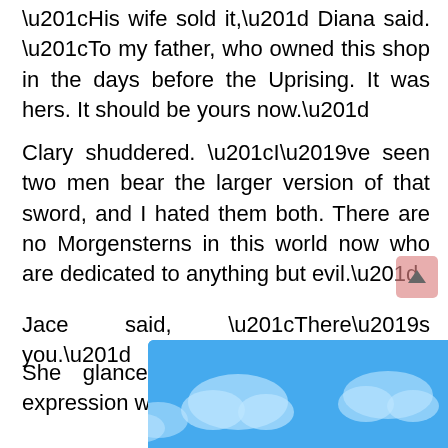“His wife sold it,” Diana said. “To my father, who owned this shop in the days before the Uprising. It was hers. It should be yours now.”
Clary shuddered. “I’ve seen two men bear the larger version of that sword, and I hated them both. There are no Morgensterns in this world now who are dedicated to anything but evil.”
Jace said, “There’s you.”
She glanced over at him, but his expression was unreadable.
“I couldn’t afford it, anyway,” Clary said. “That’s gold, and black gold, and adamas. I don’t have the money for tha
“We d
[Figure (illustration): A blue sky with white and light-blue clouds illustration visible at the bottom right of the page, partially obscured by text.]